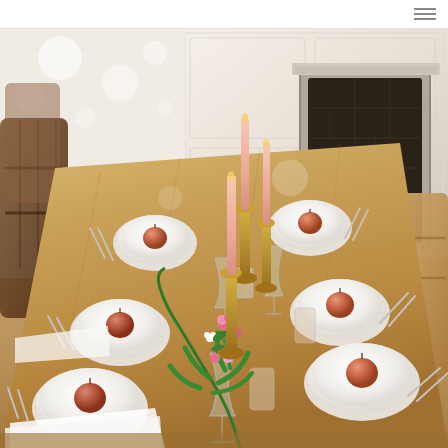[Figure (photo): An elegantly set wooden dining table photographed from above at an angle. The table features place settings with white/light blue plates stacked, peaches or apples placed on each plate, clear drinking glasses, white cloth napkins, and silverware. In the center of the table is a floral runner with pink roses and greenery including a palm frond, accented by tall brass candlesticks holding pink taper candles. In the background is a white wainscoted wall with a black fireplace and wooden chairs around the table.]